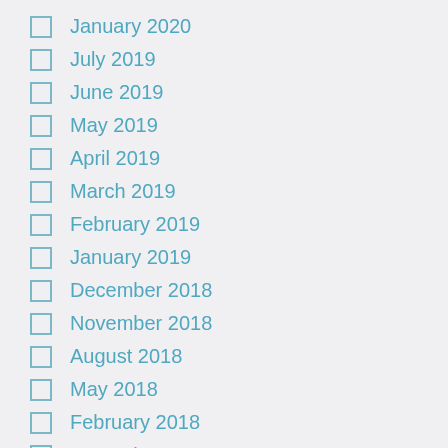January 2020
July 2019
June 2019
May 2019
April 2019
March 2019
February 2019
January 2019
December 2018
November 2018
August 2018
May 2018
February 2018
December 2017
November 2017
October 2017